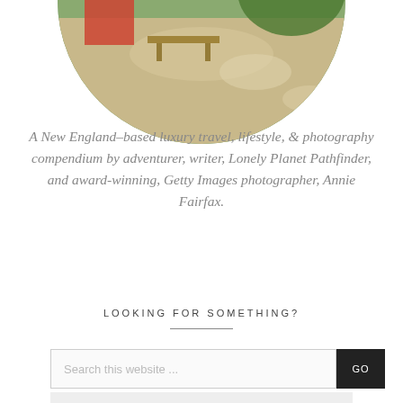[Figure (photo): Circular cropped photo of a garden/outdoor area with green trees, foliage, and what appears to be a red structure or seating area, partially visible at top of page]
A New England–based luxury travel, lifestyle, & photography compendium by adventurer, writer, Lonely Planet Pathfinder, and award-winning, Getty Images photographer, Annie Fairfax.
LOOKING FOR SOMETHING?
Search this website ...
GO
Sign Up for Travel &